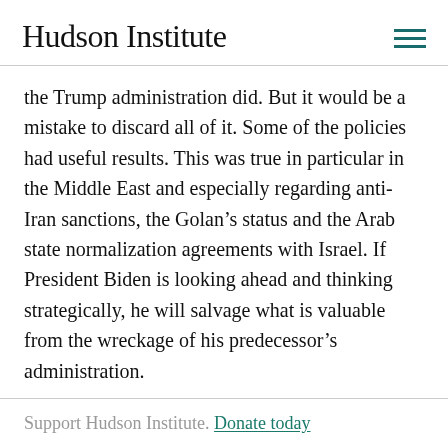Hudson Institute
the Trump administration did. But it would be a mistake to discard all of it. Some of the policies had useful results. This was true in particular in the Middle East and especially regarding anti-Iran sanctions, the Golan’s status and the Arab state normalization agreements with Israel. If President Biden is looking ahead and thinking strategically, he will salvage what is valuable from the wreckage of his predecessor’s administration.
Support Hudson Institute. Donate today